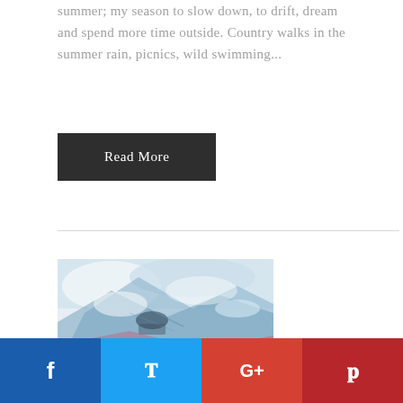summer; my season to slow down, to drift, dream and spend more time outside. Country walks in the summer rain, picnics, wild swimming...
Read More
[Figure (illustration): Abstract painting with blue, white and pink/red tones suggesting a landscape]
f  t  G+  p (social share bar)